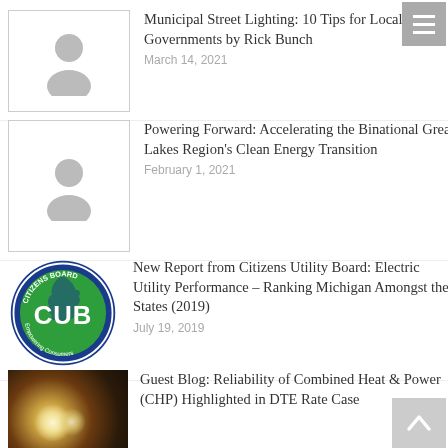[Figure (illustration): Placeholder person icon in bordered box]
Municipal Street Lighting: 10 Tips for Local Governments by Rick Bunch
March 14, 2021
[Figure (illustration): Placeholder person icon in bordered box]
Powering Forward: Accelerating the Binational Great Lakes Region's Clean Energy Transition
February 1, 2021
[Figure (logo): Citizens Utility Board (CUB) circular logo, blue and green with Michigan map]
New Report from Citizens Utility Board: Electric Utility Performance – Ranking Michigan Amongst the States (2019)
July 19, 2019
[Figure (photo): Dark photo with blurred bright light orbs, warm amber tones]
Guest Blog: Reliability of Combined Heat & Power (CHP) Highlighted in DTE Rate Case